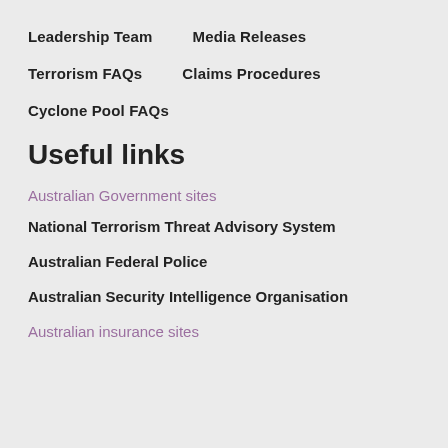Leadership Team
Media Releases
Terrorism FAQs
Claims Procedures
Cyclone Pool FAQs
Useful links
Australian Government sites
National Terrorism Threat Advisory System
Australian Federal Police
Australian Security Intelligence Organisation
Australian insurance sites